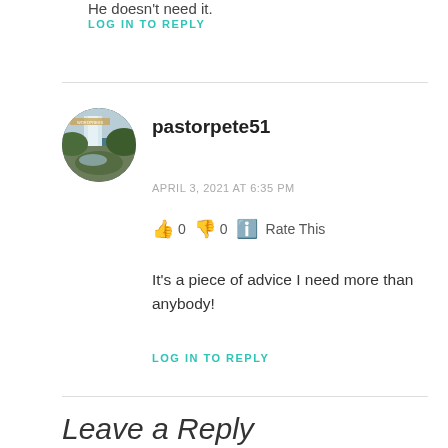He doesn't need it.
LOG IN TO REPLY
[Figure (photo): Circular avatar photo showing a waterfall with green foliage, used as profile image for pastorpete51]
pastorpete51
APRIL 3, 2021 AT 6:35 PM
👍 0 👎 0 ℹ Rate This
It's a piece of advice I need more than anybody!
LOG IN TO REPLY
Leave a Reply